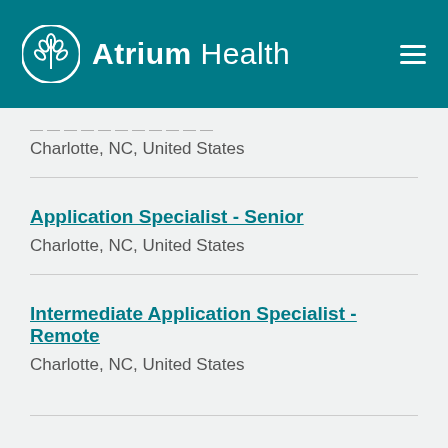Atrium Health
Charlotte, NC, United States
Application Specialist - Senior
Charlotte, NC, United States
Intermediate Application Specialist - Remote
Charlotte, NC, United States